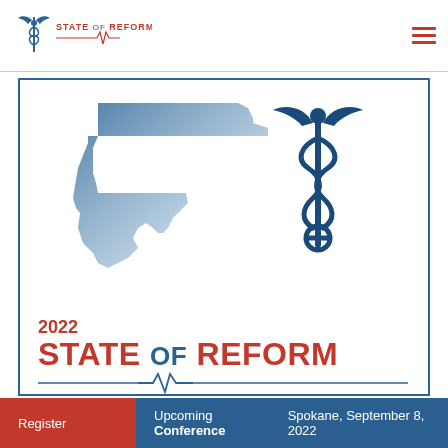STATE OF REFORM
[Figure (logo): State of Reform 2022 Oregon Health Policy Conference logo with Oregon state map silhouette in blue gradient and caduceus medical symbol]
2022 STATE OF REFORM OREGON HEALTH POLICY CONFERENCE
OCTOBER 25, 2022
Register   Upcoming Conference   Spokane, September 8, 2022